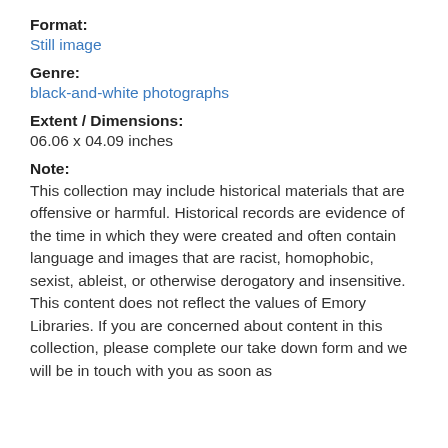Format:
Still image
Genre:
black-and-white photographs
Extent / Dimensions:
06.06 x 04.09 inches
Note:
This collection may include historical materials that are offensive or harmful. Historical records are evidence of the time in which they were created and often contain language and images that are racist, homophobic, sexist, ableist, or otherwise derogatory and insensitive. This content does not reflect the values of Emory Libraries. If you are concerned about content in this collection, please complete our take down form and we will be in touch with you as soon as